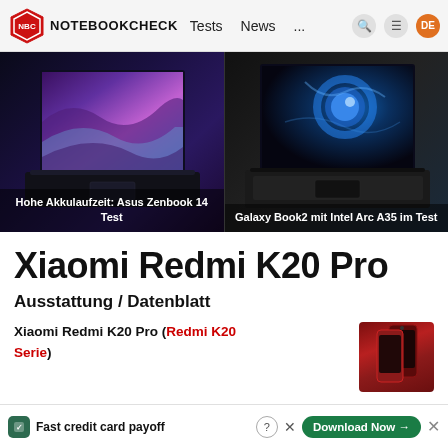NOTEBOOKCHECK — Tests  News  ...
[Figure (photo): Laptop with colorful wave wallpaper — Asus Zenbook 14]
Hohe Akkulaufzeit: Asus Zenbook 14 Test
[Figure (photo): Laptop with blue galaxy wallpaper — Galaxy Book2 with Intel Arc A35]
Galaxy Book2 mit Intel Arc A35 im Test
Xiaomi Redmi K20 Pro
Ausstattung / Datenblatt
Xiaomi Redmi K20 Pro (Redmi K20 Serie)
[Figure (photo): Xiaomi Redmi K20 Pro smartphone in red/burgundy color]
Fast credit card payoff — Download Now